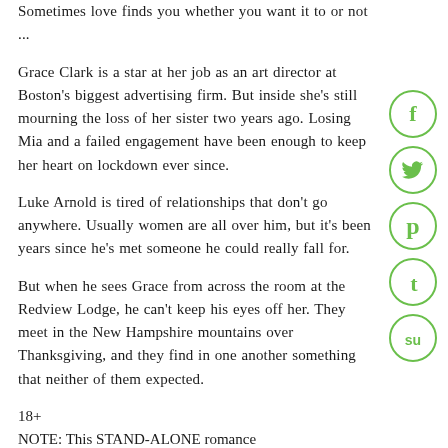Sometimes love finds you whether you want it to or not ...
Grace Clark is a star at her job as an art director at Boston's biggest advertising firm. But inside she's still mourning the loss of her sister two years ago. Losing Mia and a failed engagement have been enough to keep her heart on lockdown ever since.
Luke Arnold is tired of relationships that don't go anywhere. Usually women are all over him, but it's been years since he's met someone he could really fall for.
But when he sees Grace from across the room at the Redview Lodge, he can't keep his eyes off her. They meet in the New Hampshire mountains over Thanksgiving, and they find in one another something that neither of them expected.
18+
NOTE: This STAND-ALONE romance
[Figure (infographic): Vertical social media sharing icons: Facebook (f), Twitter bird, Pinterest (p), Tumblr (t), StumbleUpon (su) — all in green circles on the right side of the page]